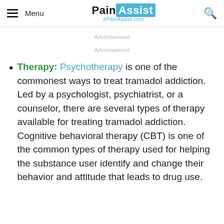Menu | PainAssist ePainAssist.com
Advertisement
Advertisement
Therapy: Psychotherapy is one of the commonest ways to treat tramadol addiction. Led by a psychologist, psychiatrist, or a counselor, there are several types of therapy available for treating tramadol addiction. Cognitive behavioral therapy (CBT) is one of the common types of therapy used for helping the substance user identify and change their behavior and attitude that leads to drug use.